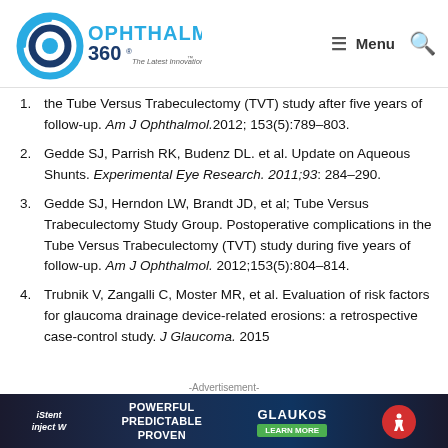Ophthalmology 360 — The Latest Innovations in Vision
the Tube Versus Trabeculectomy (TVT) study after five years of follow-up. Am J Ophthalmol. 2012; 153(5):789-803.
2. Gedde SJ, Parrish RK, Budenz DL. et al. Update on Aqueous Shunts. Experimental Eye Research. 2011;93: 284-290.
3. Gedde SJ, Herndon LW, Brandt JD, et al; Tube Versus Trabeculectomy Study Group. Postoperative complications in the Tube Versus Trabeculectomy (TVT) study during five years of follow-up. Am J Ophthalmol. 2012;153(5):804-814.
4. Trubnik V, Zangalli C, Moster MR, et al. Evaluation of risk factors for glaucoma drainage device-related erosions: a retrospective case-control study. J Glaucoma. 2015
-Advertisement-